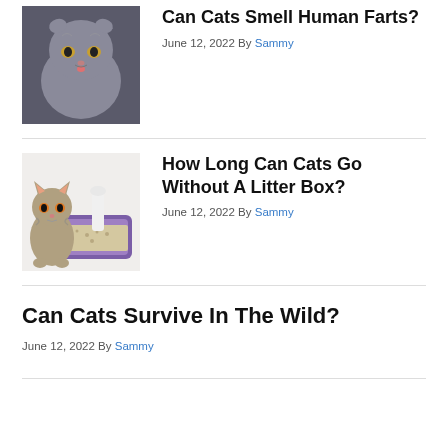[Figure (photo): Grey Scottish Fold cat with tongue slightly out, looking at camera]
Can Cats Smell Human Farts?
June 12, 2022 By Sammy
[Figure (photo): Tabby cat sitting next to a purple litter box with a white scoop inside]
How Long Can Cats Go Without A Litter Box?
June 12, 2022 By Sammy
Can Cats Survive In The Wild?
June 12, 2022 By Sammy